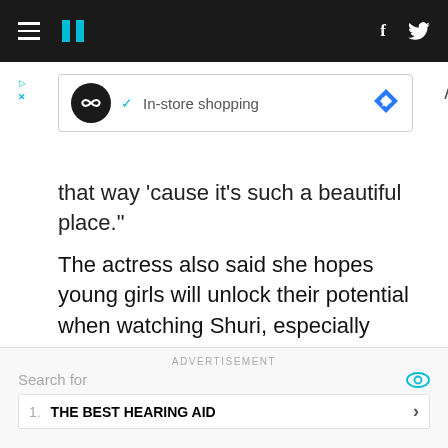HuffPost navigation bar with hamburger menu, logo, Facebook and Twitter icons
[Figure (screenshot): Advertisement banner with circular icon, checkmark, In-store shopping text, blue diamond icon, and close/collapse controls]
that way ‘cause it’s such a beautiful place.”
The actress also said she hopes young girls will unlock their potential when watching Shuri, especially when it comes to STEM, where women of color made up less than 10 percent of working scientists and engineers in the U.S. in 2015.
ADVERTISEMENT
Search for
1.  THE BEST HEARING AID